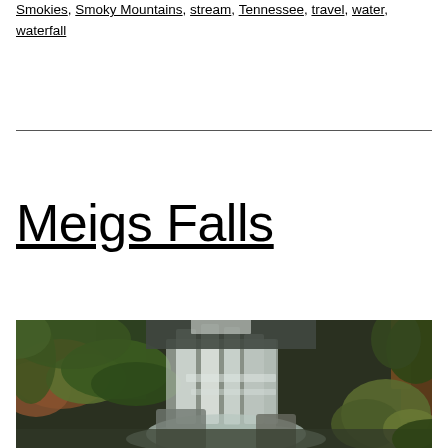Smokies, Smoky Mountains, stream, Tennessee, travel, water, waterfall
Meigs Falls
[Figure (photo): A wide waterfall cascading over mossy rocks into a pool, surrounded by lush green rhododendron and forest vegetation in the Smoky Mountains.]